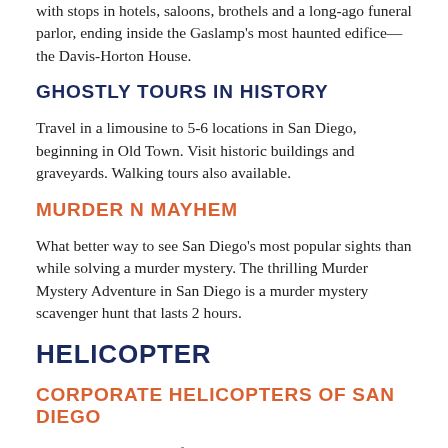with stops in hotels, saloons, brothels and a long-ago funeral parlor, ending inside the Gaslamp's most haunted edifice—the Davis-Horton House.
GHOSTLY TOURS IN HISTORY
Travel in a limousine to 5-6 locations in San Diego, beginning in Old Town. Visit historic buildings and graveyards. Walking tours also available.
MURDER N MAYHEM
What better way to see San Diego's most popular sights than while solving a murder mystery. The thrilling Murder Mystery Adventure in San Diego is a murder mystery scavenger hunt that lasts 2 hours.
HELICOPTER
CORPORATE HELICOPTERS OF SAN DIEGO
Helicopter tours range from coastal scenery to wine country. Tours also available...